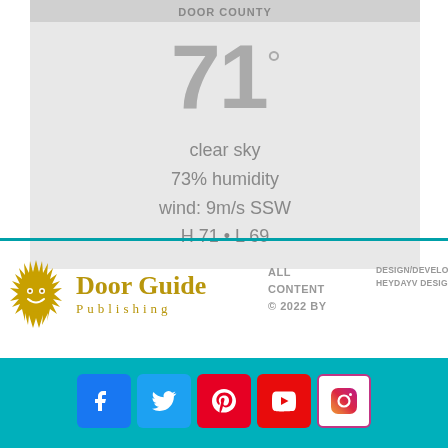DOOR COUNTY
71°
clear sky
73% humidity
wind: 9m/s SSW
H 71 • L 69
[Figure (logo): Door Guide Publishing logo with sun icon and text]
ALL CONTENT © 2022 BY
DESIGN/DEVELOPMENT: HEYDAYV DESIGN
DOOR GUIDE PUBLISHING
[Figure (infographic): Social media icons row: Facebook, Twitter, Pinterest, YouTube, Instagram on teal background]